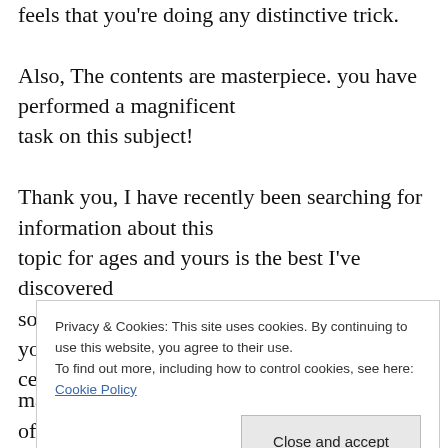The web site loading pace is amazing. It kind of feels that you're doing any distinctive trick. Also, The contents are masterpiece. you have performed a magnificent task on this subject! Thank you, I have recently been searching for information about this topic for ages and yours is the best I've discovered so far. But, what about the conclusion? Are you certain about the source?
Privacy & Cookies: This site uses cookies. By continuing to use this website, you agree to their use. To find out more, including how to control cookies, see here: Cookie Policy
made me in my opinion consider it from a lot of